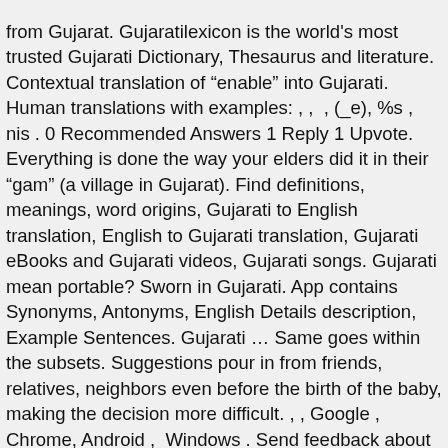from Gujarat. Gujaratilexicon is the world's most trusted Gujarati Dictionary, Thesaurus and literature. Contextual translation of "enable" into Gujarati. Human translations with examples: , ,  , (_e), %s , nis . 0 Recommended Answers 1 Reply 1 Upvote. Everything is done the way your elders did it in their "gam" (a village in Gujarat). Find definitions, meanings, word origins, Gujarati to English translation, English to Gujarati translation, Gujarati eBooks and Gujarati videos, Gujarati songs. Gujarati mean portable? Sworn in Gujarati. App contains Synonyms, Antonyms, English Details description, Example Sentences. Gujarati … Same goes within the subsets. Suggestions pour in from friends, relatives, neighbors even before the birth of the baby, making the decision more difficult. , , Google , Chrome, Android ,  Windows . Send feedback about our Help Center . Sworn meaning in Gujarati. Nouns for enable include enablement, enablements, enabler, enablers, enabling and enablings. Step 1 First of all, Download Google Input Tools Gujarati offline installer from the link below. Translate not displaying output. Those are categorized according to parts of speech. Gujarati novels